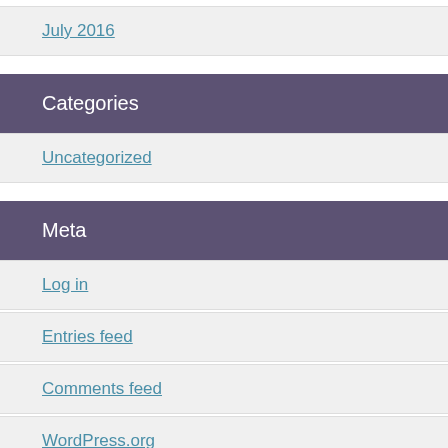July 2016
Categories
Uncategorized
Meta
Log in
Entries feed
Comments feed
WordPress.org